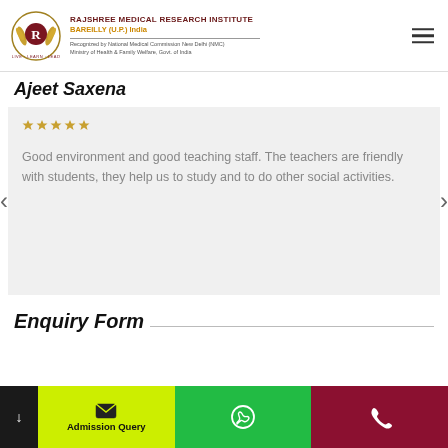RAJSHREE MEDICAL RESEARCH INSTITUTE | BAREILLY (U.P.) India | Recognized by National Medical Commission New Delhi (NMC) Ministry of Health & Family Welfare, Govt. of India
Ajeet Saxena
Good environment and good teaching staff. The teachers are friendly with students, they help us to study and to do other social activities.
Enquiry Form